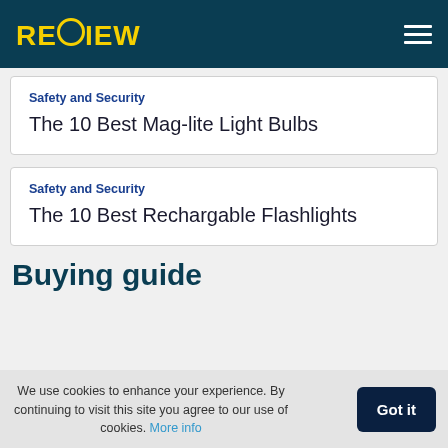RECIEW
Safety and Security
The 10 Best Mag-lite Light Bulbs
Safety and Security
The 10 Best Rechargable Flashlights
Buying guide
We use cookies to enhance your experience. By continuing to visit this site you agree to our use of cookies. More info